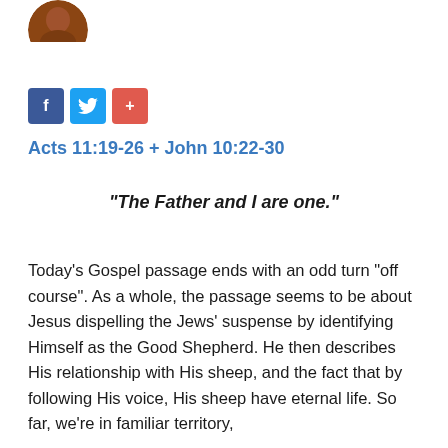[Figure (photo): Partial circular photo/avatar at top left corner, showing a brown/reddish object, likely a person's head]
[Figure (other): Three social media sharing buttons: Facebook (blue, 'f'), Twitter (light blue, bird icon), and a red '+' button]
Acts 11:19-26  +  John 10:22-30
“The Father and I are one.”
Today’s Gospel passage ends with an odd turn “off course”.  As a whole, the passage seems to be about Jesus dispelling the Jews’ suspense by identifying Himself as the Good Shepherd.  He then describes His relationship with His sheep, and the fact that by following His voice, His sheep have eternal life.  So far, we’re in familiar territory,